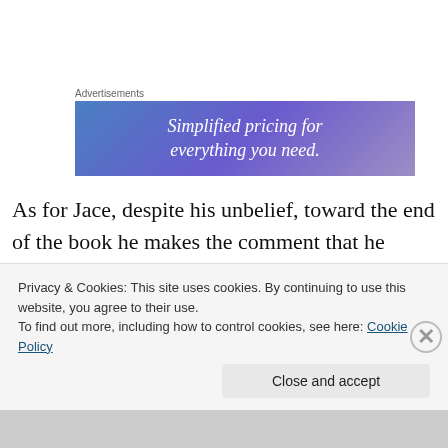Advertisements
[Figure (other): Advertisement banner with blue-purple gradient background and white italic text reading 'Simplified pricing for everything you need.']
As for Jace, despite his unbelief, toward the end of the book he makes the comment that he “doesn’t believe in coincidence.” Maybe as the books go on he’ll find his faith. Maybe he’ll realize that he’s not alone. Even when things
Privacy & Cookies: This site uses cookies. By continuing to use this website, you agree to their use.
To find out more, including how to control cookies, see here: Cookie Policy
Close and accept